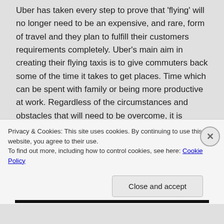Uber has taken every step to prove that 'flying' will no longer need to be an expensive, and rare, form of travel and they plan to fulfill their customers requirements completely. Uber's main aim in creating their flying taxis is to give commuters back some of the time it takes to get places. Time which can be spent with family or being more productive at work. Regardless of the circumstances and obstacles that will need to be overcome, it is guaranteed that there will be a built-in customer base as soon as their VTOLs are up and running.
Privacy & Cookies: This site uses cookies. By continuing to use this website, you agree to their use.
To find out more, including how to control cookies, see here: Cookie Policy
Close and accept